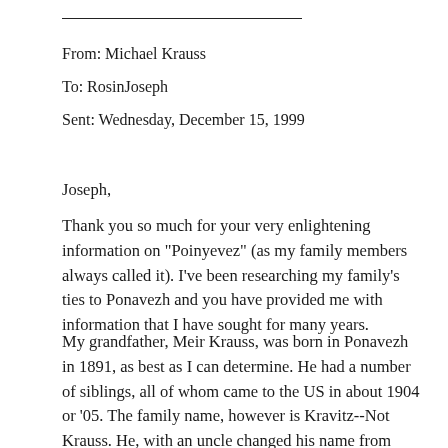From: Michael Krauss
To: RosinJoseph
Sent: Wednesday, December 15, 1999
Joseph,
Thank you so much for your very enlightening information on "Poinyevez" (as my family members always called it). I've been researching my family's ties to Ponavezh and you have provided me with information that I have sought for many years.
My grandfather, Meir Krauss, was born in Ponavezh in 1891, as best as I can determine. He had a number of siblings, all of whom came to the US in about 1904 or '05. The family name, however is Kravitz--Not Krauss. He, with an uncle changed his name from Kravitz upon arrival at Ellis Island, I have been told.